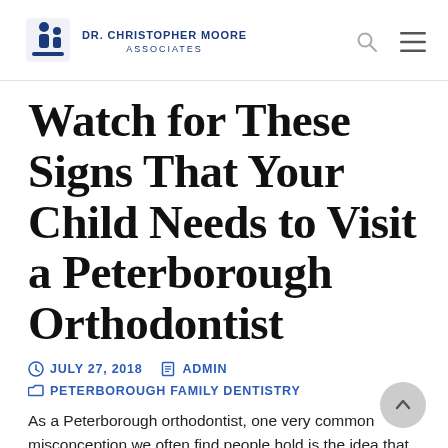Dr. Christopher Moore Associates
Watch for These Signs That Your Child Needs to Visit a Peterborough Orthodontist
JULY 27, 2018   ADMIN
PETERBOROUGH FAMILY DENTISTRY
As a Peterborough orthodontist, one very common misconception we often find people hold is the idea that an orthodontist only for…